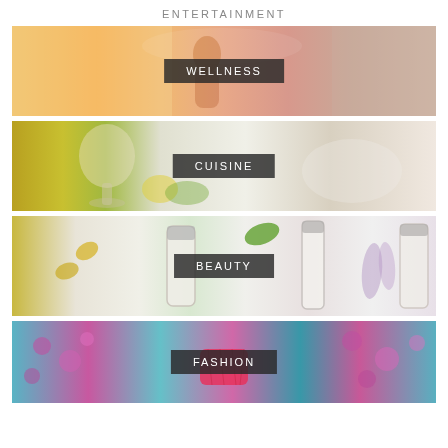ENTERTAINMENT
[Figure (photo): Wellness banner: warm-toned photo with a person silhouette in sunlight, with text overlay WELLNESS]
[Figure (photo): Cuisine banner: photo of wine glass and food items with text overlay CUISINE]
[Figure (photo): Beauty banner: photo of beauty/skincare products including Paul Wharton Beauty items with text overlay BEAUTY]
[Figure (photo): Fashion banner: photo of floral fabric patterns and a woman holding a pink bag with text overlay FASHION]